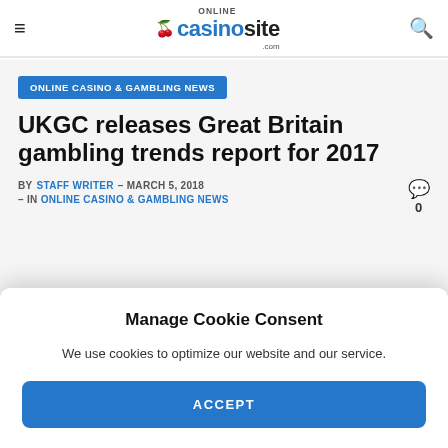onlinecasinosite.com
ONLINE CASINO & GAMBLING NEWS
UKGC releases Great Britain gambling trends report for 2017
BY STAFF WRITER – MARCH 5, 2018 – IN ONLINE CASINO & GAMBLING NEWS
Manage Cookie Consent
We use cookies to optimize our website and our service.
ACCEPT